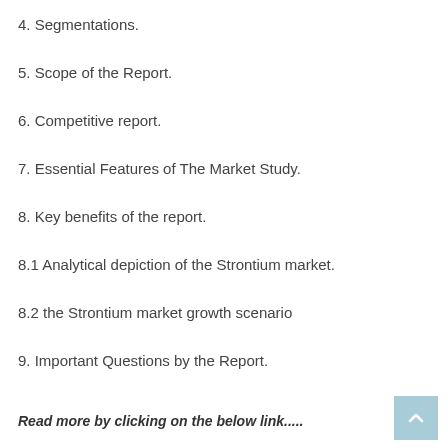4. Segmentations.
5. Scope of the Report.
6. Competitive report.
7. Essential Features of The Market Study.
8. Key benefits of the report.
8.1 Analytical depiction of the Strontium market.
8.2 the Strontium market growth scenario
9. Important Questions by the Report.
Read more by clicking on the below link.....